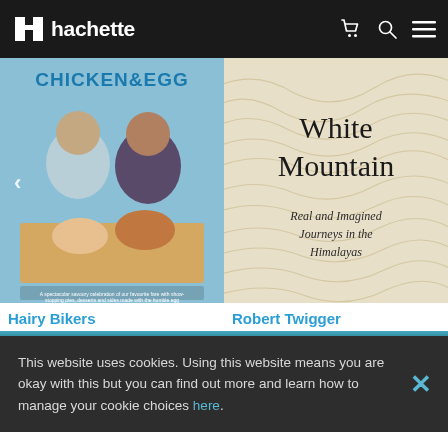hachette
[Figure (photo): Book cover: Chicken & Egg by Hairy Bikers — two men with food on a table, light blue background]
[Figure (photo): Book cover: White Mountain — Real and Imagined Journeys in the Himalayas by Robert Twigger — cream/beige topographic line pattern background]
Hairy Bikers
Robert Twigger
This website uses cookies. Using this website means you are okay with this but you can find out more and learn how to manage your cookie choices here.